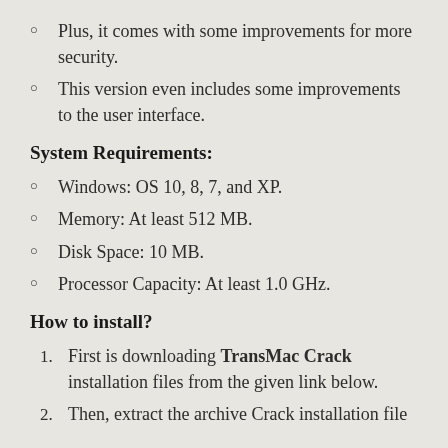Plus, it comes with some improvements for more security.
This version even includes some improvements to the user interface.
System Requirements:
Windows: OS 10, 8, 7, and XP.
Memory: At least 512 MB.
Disk Space: 10 MB.
Processor Capacity: At least 1.0 GHz.
How to install?
First is downloading TransMac Crack installation files from the given link below.
Then, extract the archive Crack installation file